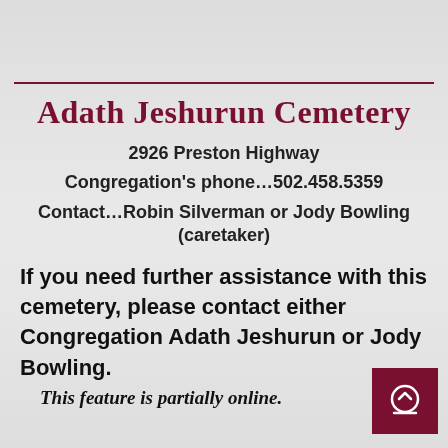Adath Jeshurun Cemetery
2926 Preston Highway
Congregation's phone…502.458.5359
Contact…Robin Silverman or Jody Bowling (caretaker)
If you need further assistance with this cemetery, please contact either Congregation Adath Jeshurun or Jody Bowling.
This feature is partially online.